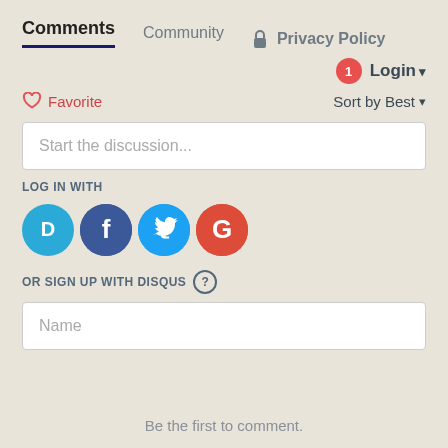Comments  Community  🔒 Privacy Policy
1  Login ▾
♡ Favorite   Sort by Best ▾
Start the discussion...
LOG IN WITH
[Figure (illustration): Four social login icons: Disqus (D, blue speech bubble), Facebook (f, dark blue circle), Twitter (bird, light blue circle), Google (G, red circle)]
OR SIGN UP WITH DISQUS ?
Name
Be the first to comment.